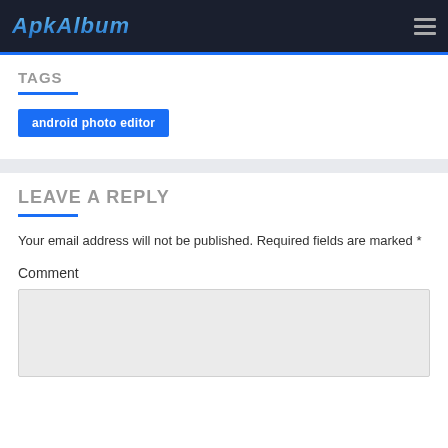ApkAlbum
TAGS
android photo editor
LEAVE A REPLY
Your email address will not be published. Required fields are marked *
Comment